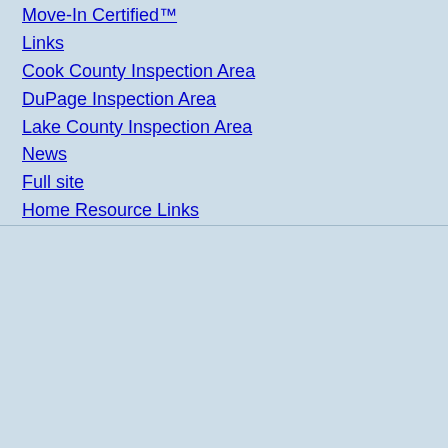Move-In Certified™
Links
Cook County Inspection Area
DuPage Inspection Area
Lake County Inspection Area
News
Full site
Home Resource Links
Click here